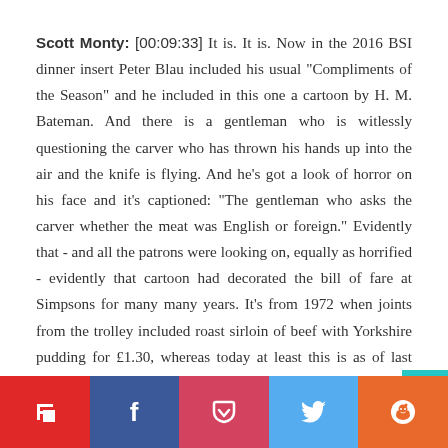Scott Monty: [00:09:33] It is. It is. Now in the 2016 BSI dinner insert Peter Blau included his usual "Compliments of the Season" and he included in this one a cartoon by H. M. Bateman. And there is a gentleman who is witlessly questioning the carver who has thrown his hands up into the air and the knife is flying. And he's got a look of horror on his face and it's captioned: "The gentleman who asks the carver whether the meat was English or foreign." Evidently that - and all the patrons were looking on, equally as horrified - evidently that cartoon had decorated the bill of fare at Simpsons for many many years. It's from 1972 when joints from the trolley included roast sirloin of beef with Yorkshire pudding for £1.30, whereas today at least this is as of last year. The roast rib of Scottish beef costs £31.80.
[Figure (infographic): Social media sharing buttons bar: Flipboard (red), Facebook (dark blue), Pocket (pink/red), Twitter (light blue), Reddit (orange)]